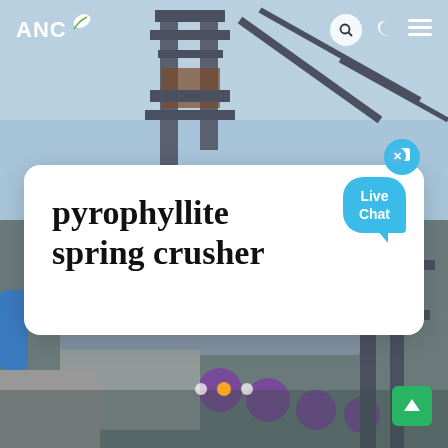[Figure (photo): Industrial mining/crushing equipment — large steel frame structures, conveyors, purple pipes, concrete base, photographed outdoors under a light blue sky.]
ANC
pyrophyllite spring crusher
Live Chat